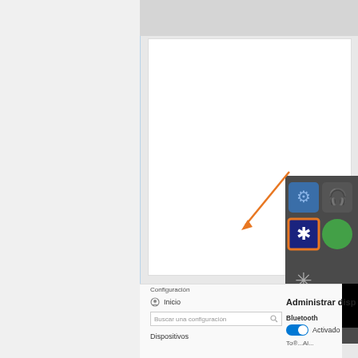[Figure (screenshot): Windows 10 settings screenshot showing Bluetooth tray icon highlighted with orange border in system tray popup, and the Settings window showing Configuración, Inicio, Buscar una configuración, Dispositivos, and Administrar disp... panel with Bluetooth toggle set to Activado]
Configuración
Inicio
Buscar una configuración
Dispositivos
Administrar disp
Bluetooth
Activado